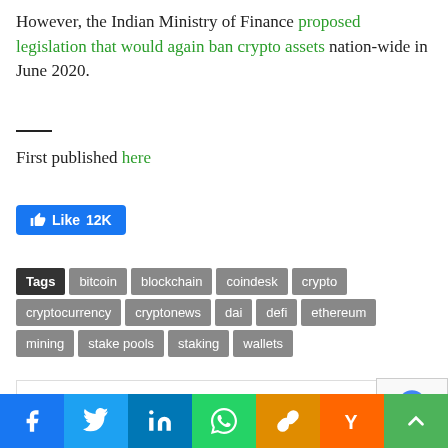However, the Indian Ministry of Finance proposed legislation that would again ban crypto assets nation-wide in June 2020.
First published here
[Figure (other): Facebook Like button showing 12K likes]
Tags: bitcoin, blockchain, coindesk, crypto, cryptocurrency, cryptonews, dai, defi, ethereum, mining, stake pools, staking, wallets
[Figure (other): Comment/article section partial view with reCAPTCHA widget]
[Figure (other): Social sharing bar with Facebook, Twitter, LinkedIn, WhatsApp, Copy link, Hacker News, and more buttons]